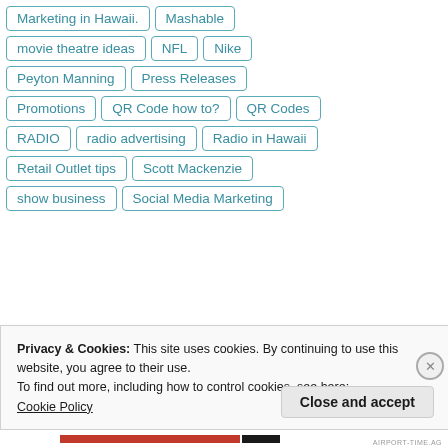Marketing in Hawaii.
Mashable
movie theatre ideas
NFL
Nike
Peyton Manning
Press Releases
Promotions
QR Code how to?
QR Codes
RADIO
radio advertising
Radio in Hawaii
Retail Outlet tips
Scott Mackenzie
show business
Social Media Marketing
Privacy & Cookies: This site uses cookies. By continuing to use this website, you agree to their use.
To find out more, including how to control cookies, see here:
Cookie Policy
Close and accept